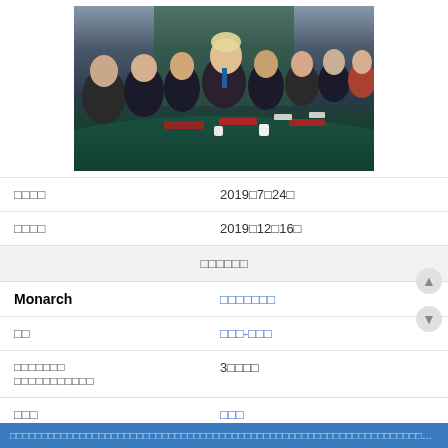[Figure (photo): Photo of Boris Johnson and cabinet members seated around a large green conference table at 10 Downing Street, with red folders and white mugs visible.]
|  |  |
| --- | --- |
| □□□□ | 2019□7□24□ |
| □□□□ | 2019□12□16□ |
| □□□□□□ |  |
| Monarch | □□□□□□□ |
| □□ | □□□-□□□ |
| □□□□□□□
□□□□□□□□□□□ | 3□□□□ |
| □□□ | □□□ |
□□□□□□□□□□□□□□□□□□□□□□□□□□□□□□□□□□□□□□□□□□□□□□□□□□□□□□□□□□□□□□□□□□□□□□□□□□□□□□□□□□□□□□□□□□□□□□□□□□□□□□□□□□□□□□□□□□□□□□□□□□□□□□□□□□□□□□□□□□□□□□□□□□□□□□□□□□□□□□□□□□□□□□□□□□□□□□□□□□□□□□□□□□□□□□□□□□□□□□□□□□□□□□□□□□